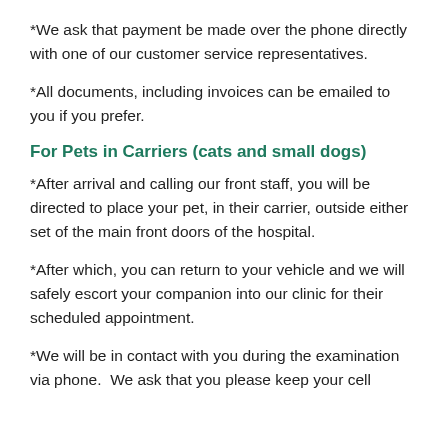*We ask that payment be made over the phone directly with one of our customer service representatives.
*All documents, including invoices can be emailed to you if you prefer.
For Pets in Carriers (cats and small dogs)
*After arrival and calling our front staff, you will be directed to place your pet, in their carrier, outside either set of the main front doors of the hospital.
*After which, you can return to your vehicle and we will safely escort your companion into our clinic for their scheduled appointment.
*We will be in contact with you during the examination via phone.  We ask that you please keep your cell